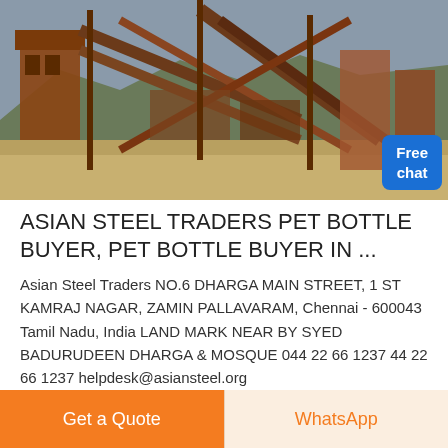[Figure (photo): Industrial mining or quarrying machinery with rust-colored steel conveyor structures and heavy equipment near a muddy river or water body, with mountains in the background. A watermark logo is visible. A 'Free chat' button overlay is in the bottom-right corner.]
ASIAN STEEL TRADERS PET BOTTLE BUYER, PET BOTTLE BUYER IN ...
Asian Steel Traders NO.6 DHARGA MAIN STREET, 1 ST KAMRAJ NAGAR, ZAMIN PALLAVARAM, Chennai - 600043 Tamil Nadu, India LAND MARK NEAR BY SYED BADURUDEEN DHARGA & MOSQUE 044 22 66 1237 44 22 66 1237 helpdesk@asiansteel.org
Get a Quote
WhatsApp